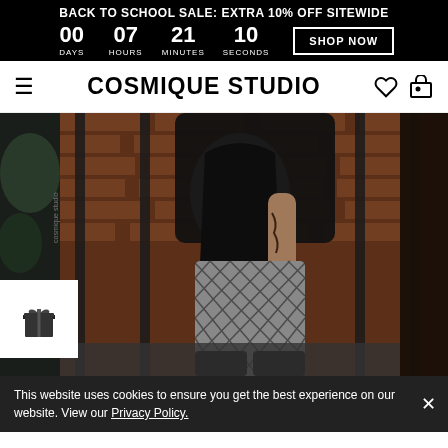BACK TO SCHOOL SALE: EXTRA 10% OFF SITEWIDE
00 DAYS  07 HOURS  21 MINUTES  10 SECONDS  SHOP NOW
COSMIQUE STUDIO
[Figure (photo): Fashion photo of a person wearing a black leather mini skirt and fishnet stockings with black boots, standing against a brick wall with metal railings. Cosmique Studio watermark visible.]
This website uses cookies to ensure you get the best experience on our website. View our Privacy Policy.